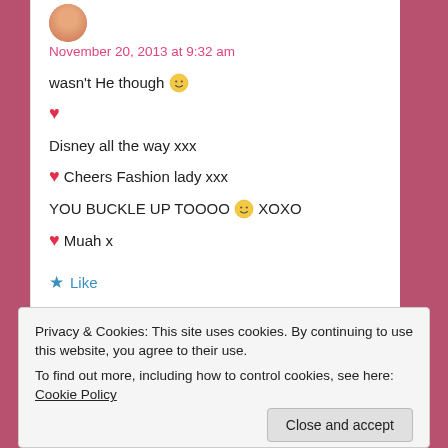November 20, 2013 at 9:32 am
wasn't He though 🙂
❤
Disney all the way xxx
❤ Cheers Fashion lady xxx
YOU BUCKLE UP TOOOO 🙂 XOXO
❤ Muah x
★ Like
Privacy & Cookies: This site uses cookies. By continuing to use this website, you agree to their use.
To find out more, including how to control cookies, see here: Cookie Policy
Close and accept